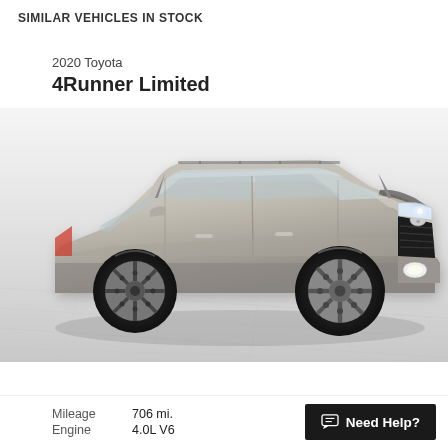SIMILAR VEHICLES IN STOCK
2020 Toyota
4Runner Limited
[Figure (photo): Silver 2020 Toyota 4Runner Limited SUV photographed from a front three-quarter angle on a light gray tiled floor with white background]
Mileage   706 mi.
Engine    4.0L V6